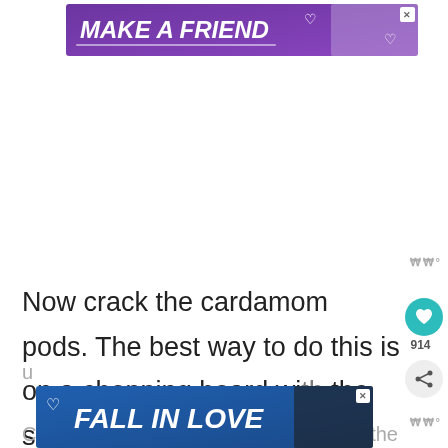[Figure (other): Advertisement banner at top: purple background with 'MAKE A FRIEND' text in white italic bold, dog image on right, close X button, heart icons.]
Now crack the cardamom pods. The best way to do this is on a chopping board with the side of a heavy knife, or squash them u...
[Figure (other): Social interaction button: teal heart icon with count 914 below.]
[Figure (other): Social share button: grey circle with share icon.]
[Figure (other): Advertisement banner at bottom: blue background with 'FALL IN LOVE' text in white italic bold, dog image on right, heart icon on left, close X button.]